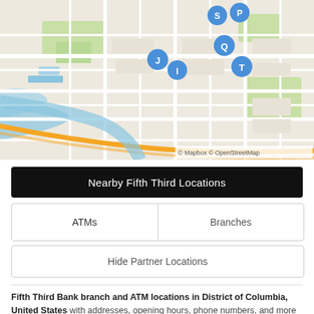[Figure (map): Map showing Fifth Third Bank ATM and branch locations in District of Columbia area with labeled blue map pins (S, P, J, I, Q, T) on a street map. Map credit: © Mapbox © OpenStreetMap]
Nearby Fifth Third Locations
| ATMs | Branches |
| --- | --- |
Hide Partner Locations
Fifth Third Bank branch and ATM locations in District of Columbia, United States with addresses, opening hours, phone numbers, and more information including directions, maps, and nearby locations.